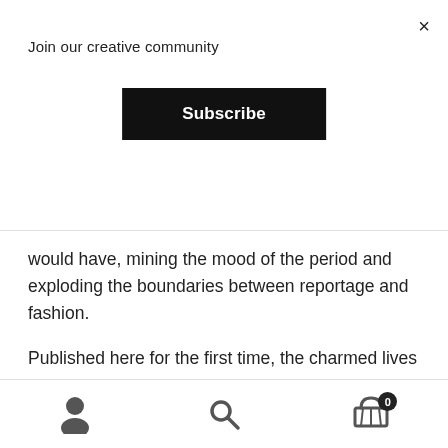Join our creative community
Subscribe
would have, mining the mood of the period and exploding the boundaries between reportage and fashion.
Published here for the first time, the charmed lives of the Beautiful People of the 1960s and 1970s are brought to life in this collection of intimate portraits of the creative high society and the cultural underground: Andy Warhol’s visit to Paris with the Factory, the circle of Yves Saint Laurent and Pierre Bergé-Loulou de la Falaise,
0